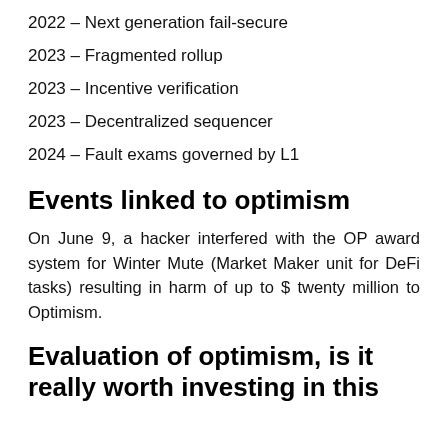2022 – Next generation fail-secure
2023 – Fragmented rollup
2023 – Incentive verification
2023 – Decentralized sequencer
2024 – Fault exams governed by L1
Events linked to optimism
On June 9, a hacker interfered with the OP award system for Winter Mute (Market Maker unit for DeFi tasks) resulting in harm of up to $ twenty million to Optimism.
Evaluation of optimism, is it really worth investing in this